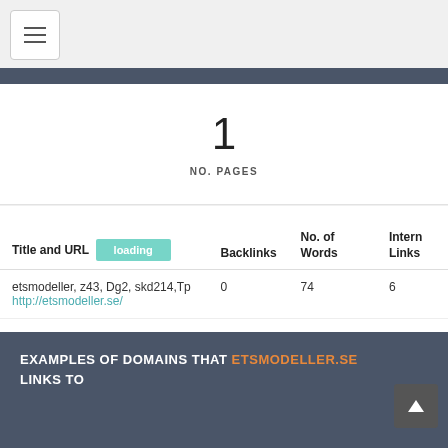[Figure (other): Hamburger menu button icon]
1
NO. PAGES
| Title and URL | Backlinks | No. of Words | Intern Links |
| --- | --- | --- | --- |
| etsmodeller, z43, Dg2, skd214,Tp
http://etsmodeller.se/ | 0 | 74 | 6 |
EXAMPLES OF DOMAINS THAT ETSMODELLER.SE LINKS TO